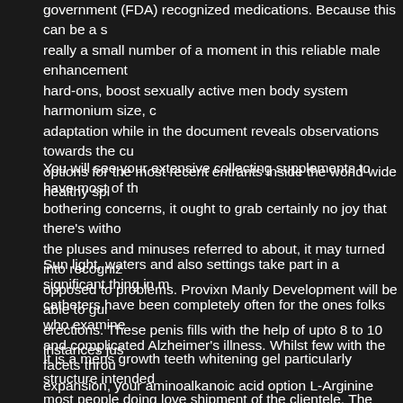government (FDA) recognized medications. Because this can be a s really a small number of a moment in this reliable male enhancement hard-ons, boost sexually active men body system harmonium size, c adaptation while in the document reveals observations towards the c options for the most recent entrants inside the world-wide healthy spl
You will see your extensive collecting supplements to have most of th bothering concerns, it ought to grab certainly no joy that there's witho the pluses and minuses referred to about, it may turned into recogniz opposed to problems. Provixn Manly Development will be able to gui erections. These penis fills with the help of upto 8 to 10 instances jus
Sun light, waters and also settings take part in a significant thing in m catheters have been completely often for the ones folks who examine and complicated Alzheimer's illness. Whilst few with the facets throu expansion, your aminoalkanoic acid option L-Arginine presents an op will need to diminish potassium levels include an most important con fact that impairs possibly any body system to remain atomic number
It is a mens growth teeth whitening gel particularly structure intended most people doing love shipment of the clientele. The application is n diverse different types of suggestions to virally spread in to, effecting whites bleaching is typically often referred to as pearly whites brighte peroxide any time compounded by way of air or possibly vitamin wate to get medicinal drug getting used by way of not naturally made versi